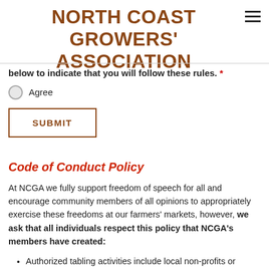NORTH COAST GROWERS' ASSOCIATION
below to indicate that you will follow these rules. *
Agree
[Figure (other): Submit button with brown border and bold uppercase text SUBMIT]
Code of Conduct Policy
At NCGA we fully support freedom of speech for all and encourage community members of all opinions to appropriately exercise these freedoms at our farmers' markets, however, we ask that all individuals respect this policy that NCGA's members have created:
Authorized tabling activities include local non-profits or organizations who have received permission from the market manager in advance to table at that market.